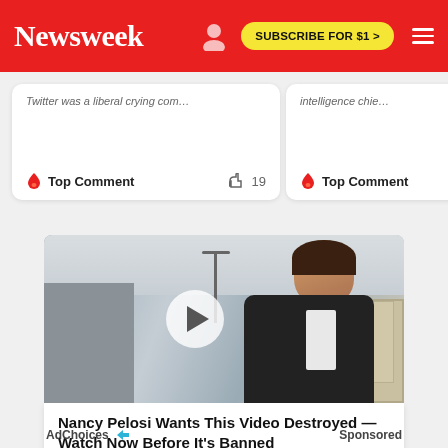Newsweek | SUBSCRIBE FOR $1 >
Twitter was a liberal crying com…
🔥 Top Comment   👍 19
intelligence chie…
🔥 Top Comment
[Figure (photo): Video thumbnail showing a woman in a dark jacket standing outdoors near industrial buildings, with a play button overlay circle]
Nancy Pelosi Wants This Video Destroyed — Watch Now Before It's Banned
Sponsored Ad
Watch The Video
AdChoices ▷   Sponsored